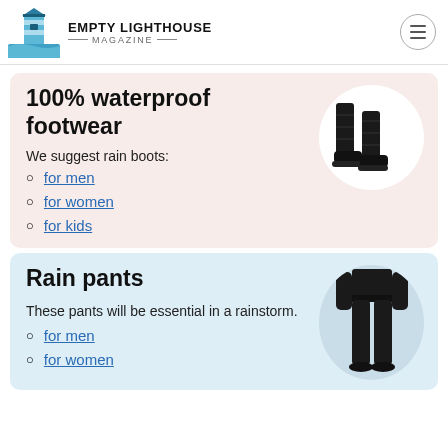EMPTY LIGHTHOUSE MAGAZINE
100% waterproof footwear
We suggest rain boots:
for men
for women
for kids
[Figure (photo): Black quilted rain boots on white circle background]
Rain pants
These pants will be essential in a rainstorm.
for men
for women
[Figure (photo): Person wearing black rain pants on light blue circle background]